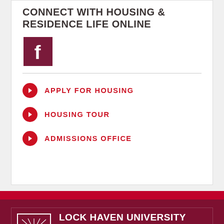CONNECT WITH HOUSING & RESIDENCE LIFE ONLINE
[Figure (logo): Facebook logo icon — white 'f' on dark red/maroon square background]
APPLY FOR HOUSING
HOUSING TOUR
ADMISSIONS OFFICE
[Figure (logo): Lock Haven University logo — white graphic with stylized landscape/water and text 'LOCK HAVEN UNIVERSITY' inside a bordered rectangle]
LOCK HAVEN UNIVERSITY
Main Campus
401 N. Fairview St.